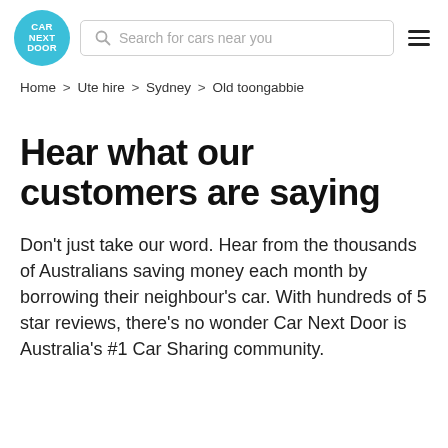[Figure (logo): Car Next Door circular teal logo with white text reading CAR NEXT DOOR]
Search for cars near you
Home > Ute hire > Sydney > Old toongabbie
Hear what our customers are saying
Don't just take our word. Hear from the thousands of Australians saving money each month by borrowing their neighbour's car. With hundreds of 5 star reviews, there's no wonder Car Next Door is Australia's #1 Car Sharing community.